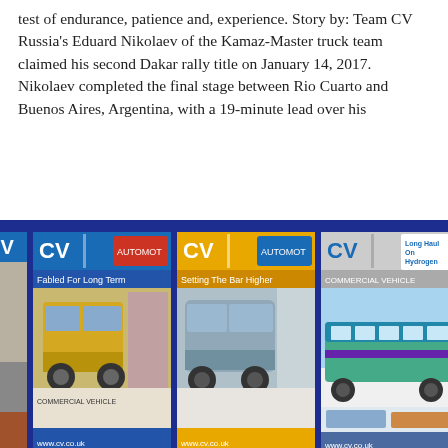test of endurance, patience and, experience. Story by: Team CV Russia's Eduard Nikolaev of the Kamaz-Master truck team claimed his second Dakar rally title on January 14, 2017. Nikolaev completed the final stage between Rio Cuarto and Buenos Aires, Argentina, with a 19-minute lead over his
[Figure (photo): Blue banner showing three CV (Commercial Vehicle) magazine covers side by side on a dark navy background. Left cover shows a yellow truck with text 'Fabled For Long Term'. Middle cover shows a grey truck with text 'Setting The Bar Higher'. Right cover shows a bus with text 'Long Haul On Hydrogen'.]
by CV Admin — February 14, 2017 — World
1  2  3  ...  12  Next
search...